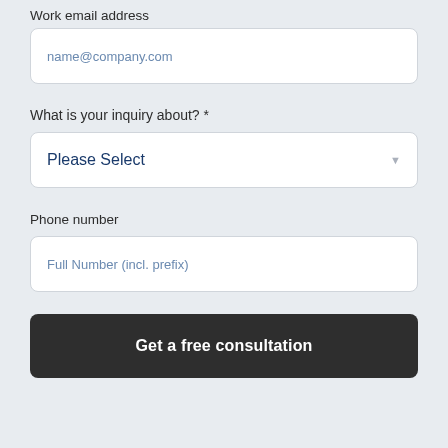Work email address
name@company.com
What is your inquiry about? *
Please Select
Phone number
Full Number (incl. prefix)
Get a free consultation